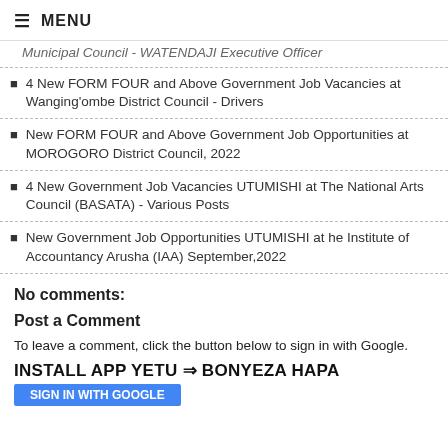MENU
Municipal Council - WATENDAJI Executive Officer
4 New FORM FOUR and Above Government Job Vacancies at Wanging'ombe District Council - Drivers
New FORM FOUR and Above Government Job Opportunities at MOROGORO District Council, 2022
4 New Government Job Vacancies UTUMISHI at The National Arts Council (BASATA) - Various Posts
New Government Job Opportunities UTUMISHI at he Institute of Accountancy Arusha (IAA) September,2022
No comments:
Post a Comment
To leave a comment, click the button below to sign in with Google.
INSTALL APP YETU ⇨ BONYEZA HAPA
SIGN IN WITH GOOGLE